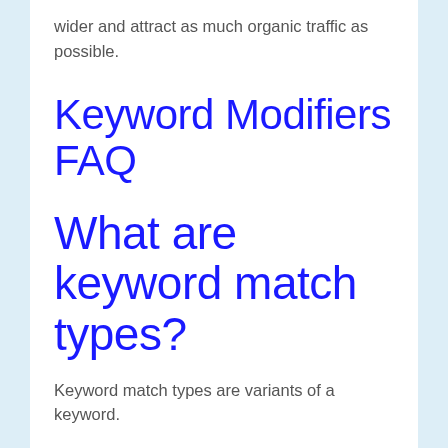wider and attract as much organic traffic as possible.
Keyword Modifiers FAQ
What are keyword match types?
Keyword match types are variants of a keyword.